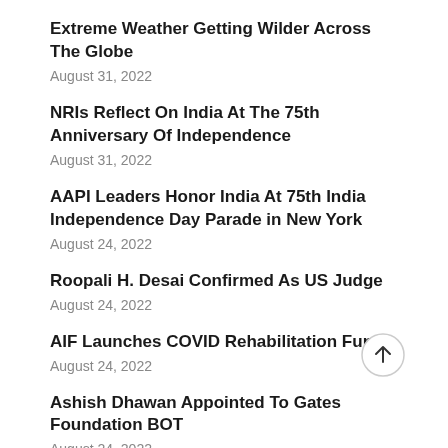Extreme Weather Getting Wilder Across The Globe
August 31, 2022
NRIs Reflect On India At The 75th Anniversary Of Independence
August 31, 2022
AAPI Leaders Honor India At 75th India Independence Day Parade in New York
August 24, 2022
Roopali H. Desai Confirmed As US Judge
August 24, 2022
AIF Launches COVID Rehabilitation Fund
August 24, 2022
Ashish Dhawan Appointed To Gates Foundation BOT
August 24, 2022